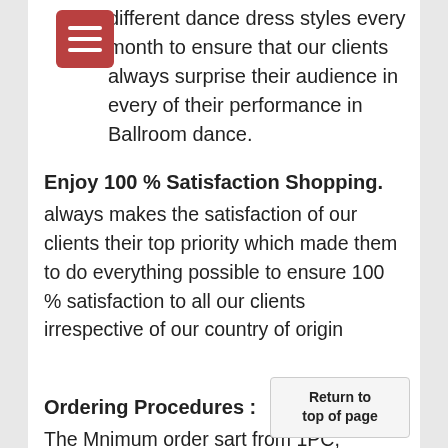different dance dress styles every month to ensure that our clients always surprise their audience in every of their performance in Ballroom dance.
Enjoy 100 % Satisfaction Shopping.
always makes the satisfaction of our clients their top priority which made them to do everything possible to ensure 100 % satisfaction to all our clients irrespective of our country of origin
Ordering Procedures :
The Mnimum order sart from 1PC, Please just send us an E-mail. Buyers need to supply the complete and complete measurements before we can start the pro